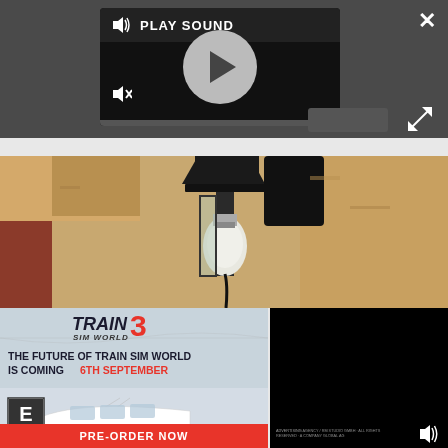[Figure (screenshot): Dark media player widget with play sound label, large play button circle, mute icon, and progress bar on dark gray background. Close X button top right, expand button lower right.]
[Figure (photo): Close-up photograph of a black metal lantern wall fixture with a white light bulb, mounted on a beige textured stucco wall.]
[Figure (screenshot): Train Sim World 3 advertisement banner with text: THE FUTURE OF TRAIN SIM WORLD IS COMING 6TH SEPTEMBER. Shows a white high-speed train (ICE), ESRB E rating badge, and PRE-ORDER NOW red button at bottom. Connected to a black video panel on the right with volume icon and small text at bottom.]